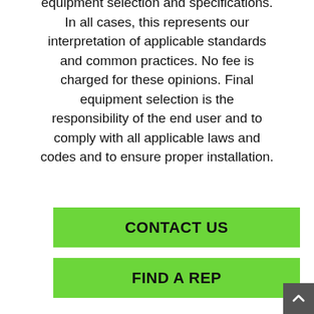equipment selection and specifications. In all cases, this represents our interpretation of applicable standards and common practices. No fee is charged for these opinions. Final equipment selection is the responsibility of the end user and to comply with all applicable laws and codes and to ensure proper installation.
CONTACT US
FIND A REP